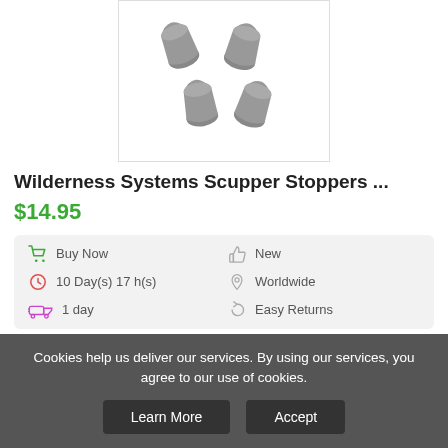[Figure (photo): Four gray rubber scupper stoppers for kayak, arranged in a cluster on white background]
Wilderness Systems Scupper Stoppers ...
$14.95
| Buy Now | New |
| 10 Day(s) 17 h(s) | Worldwide |
| 1 day | Easy Returns |
Buy Now
Cookies help us deliver our services. By using our services, you agree to our use of cookies.
Learn More
Accept